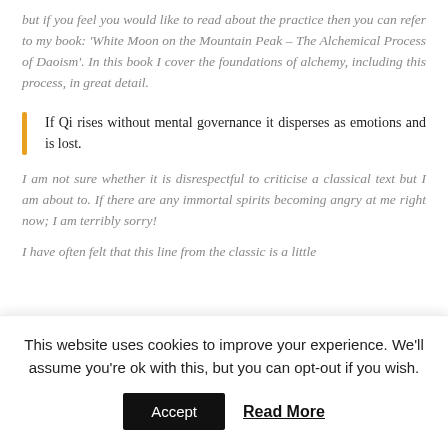but if you feel you would like to read about the practice then you can refer to my book: 'White Moon on the Mountain Peak – The Alchemical Process of Daoism'. In this book I cover the foundations of alchemy, including this process, in great detail.
If Qi rises without mental governance it disperses as emotions and is lost.
I am not sure whether it is disrespectful to criticise a classical text but I am about to. If there are any immortal spirits becoming angry at me right now; I am terribly sorry!
I have often felt that this line from the classic is a little
This website uses cookies to improve your experience. We'll assume you're ok with this, but you can opt-out if you wish.
Accept
Read More